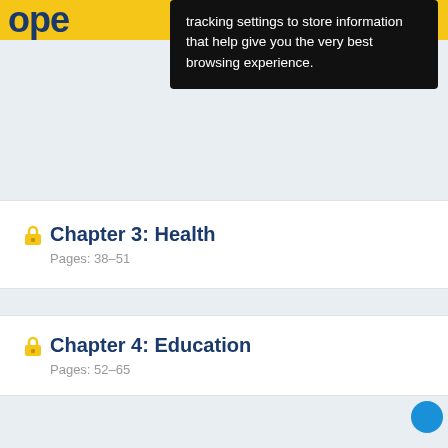[Figure (screenshot): Tooltip popup with dark background showing text about tracking settings and browsing experience]
tracking settings to store information that help give you the very best browsing experience.
Chapter 3: Health
Pages: 38–51
Chapter 4: Education
Pages: 52–65
Chapter 5: Social security
Pages: 66–77